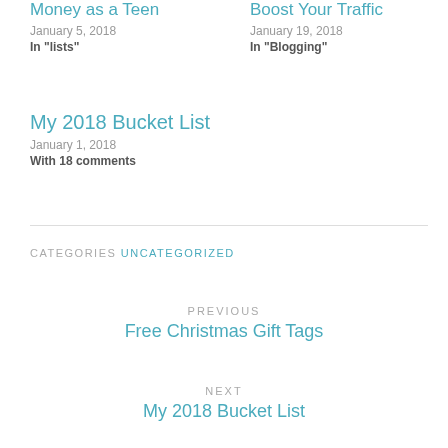Money as a Teen
January 5, 2018
In "lists"
Boost Your Traffic
January 19, 2018
In "Blogging"
My 2018 Bucket List
January 1, 2018
With 18 comments
CATEGORIES  UNCATEGORIZED
PREVIOUS
Free Christmas Gift Tags
NEXT
My 2018 Bucket List